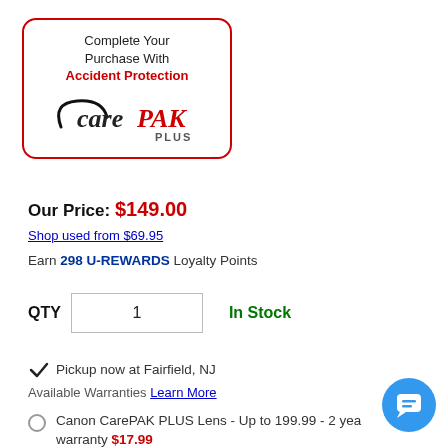[Figure (logo): CarePAK PLUS logo inside a red-bordered rounded rectangle with text 'Complete Your Purchase With Accident Protection']
Our Price: $149.00
Shop used from $69.95
Earn 298 U-REWARDS Loyalty Points
QTY  1   In Stock
✓ Pickup now at Fairfield, NJ
Available Warranties Learn More
Canon CarePAK PLUS Lens - Up to 199.99 - 2 year warranty $17.99